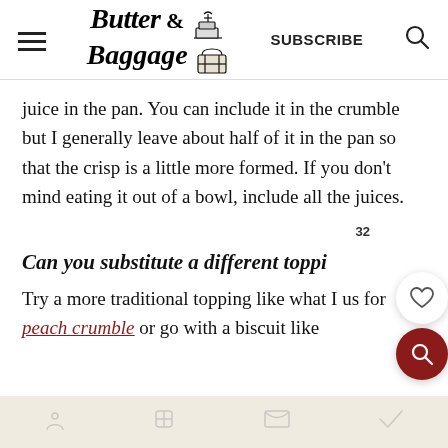Butter & Baggage — SUBSCRIBE
juice in the pan. You can include it in the crumble but I generally leave about half of it in the pan so that the crisp is a little more formed. If you don't mind eating it out of a bowl, include all the juices.
Can you substitute a different toppi
Try a more traditional topping like what I us for peach crumble or go with a biscuit like